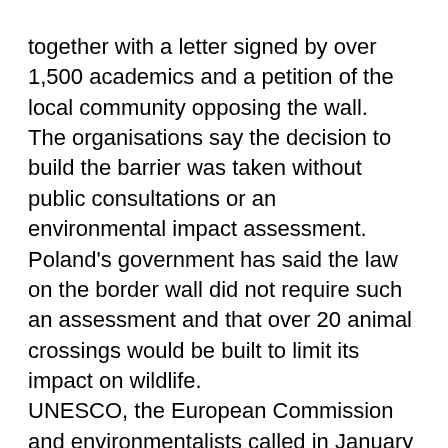together with a letter signed by over 1,500 academics and a petition of the local community opposing the wall. The organisations say the decision to build the barrier was taken without public consultations or an environmental impact assessment. Poland's government has said the law on the border wall did not require such an assessment and that over 20 animal crossings would be built to limit its impact on wildlife. UNESCO, the European Commission and environmentalists called in January for a proper assessment of the environmental impact of the construction.
Source: www.euronews.com/2022/02/08/uk-